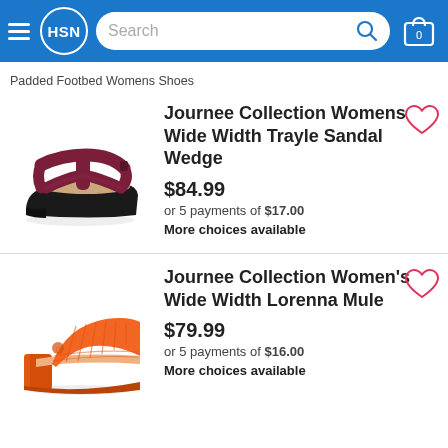HSN — Search bar — Shopping cart (0 items)
Padded Footbed Womens Shoes
[Figure (photo): Burgundy/wine colored strappy wedge sandal with ankle strap and T-bar design by Journee Collection]
Journee Collection Womens Wide Width Trayle Sandal Wedge
$84.99
or 5 payments of $17.00
More choices available
[Figure (photo): Orange block-heel mule slide sandal with textured upper by Journee Collection]
Journee Collection Women's Wide Width Lorenna Mule
$79.99
or 5 payments of $16.00
More choices available